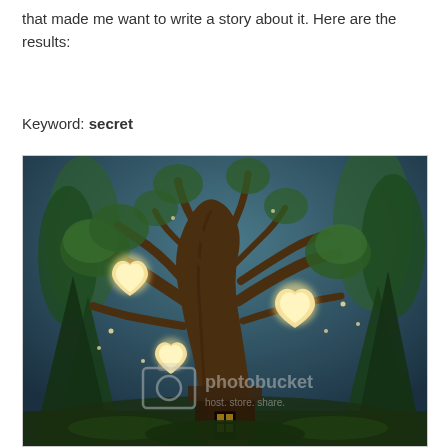that made me want to write a story about it. Here are the results:
Keyword: secret
[Figure (illustration): A fantasy digital illustration of a large, ancient gnarled tree in a mystical forest at dusk/night. Heart-shaped glowing lanterns hang from the tree's branches. Tall dark evergreen trees surround the central tree. A small cottage or structure with a lit window is visible at the base of the tree. The scene has a magical, fairy-tale atmosphere with a teal/dark sky. A Photobucket watermark is visible in the lower center of the image reading 'photobucket host. store. share.']